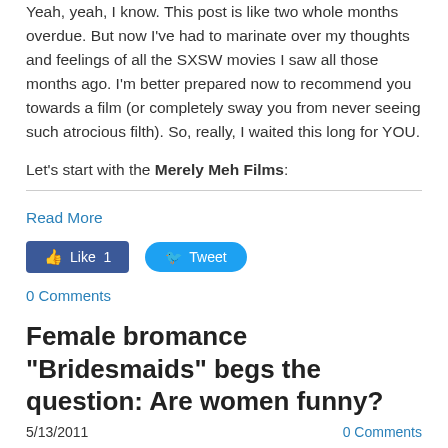Yeah, yeah, I know. This post is like two whole months overdue. But now I've had to marinate over my thoughts and feelings of all the SXSW movies I saw all those months ago. I'm better prepared now to recommend you towards a film (or completely sway you from never seeing such atrocious filth). So, really, I waited this long for YOU.
Let's start with the Merely Meh Films:
Read More
Like 1   Tweet
0 Comments
Female bromance “Bridesmaids” begs the question: Are women funny?
5/13/2011    0 Comments
[Figure (photo): Group photo of women (cast of Bridesmaids) in front of a brick wall]